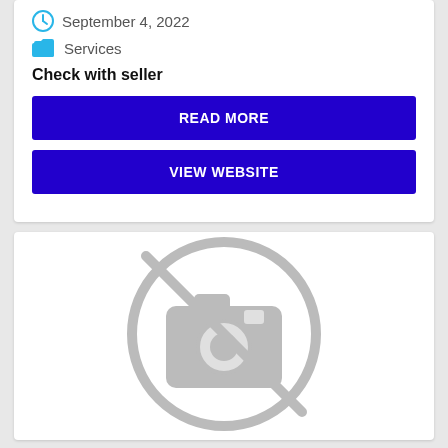September 4, 2022
Services
Check with seller
READ MORE
VIEW WEBSITE
[Figure (illustration): No image available placeholder: a camera icon with a diagonal line through it inside a circle, rendered in grey on white background]